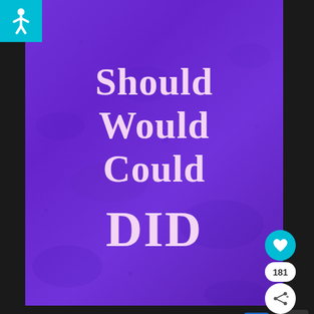[Figure (illustration): Purple textured background with motivational text reading 'Should Would Could DID' in bold serif white/light purple font, with accessibility icon top-left, heart/like button and share button on right side.]
Shop Online, Pickup Today
World Market